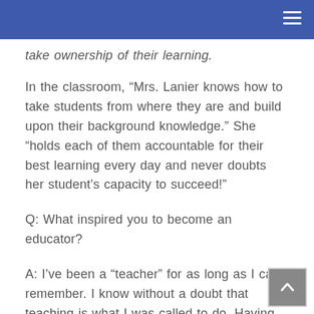take ownership of their learning.
In the classroom, “Mrs. Lanier knows how to take students from where they are and build upon their background knowledge.” She “holds each of them accountable for their best learning every day and never doubts her student’s capacity to succeed!”
Q: What inspired you to become an educator?
A: I’ve been a “teacher” for as long as I can remember. I know without a doubt that teaching is what I was called to do. Having the opportunity to create an alternate ending to the story that has been written for our